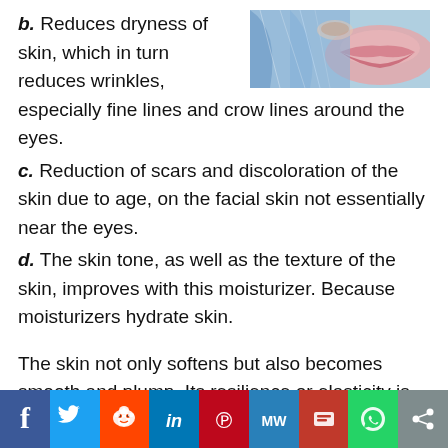[Figure (photo): Close-up photo of a woman's face near eye area with blue background]
b. Reduces dryness of skin, which in turn reduces wrinkles, especially fine lines and crow lines around the eyes.
c. Reduction of scars and discoloration of the skin due to age, on the facial skin not essentially near the eyes.
d. The skin tone, as well as the texture of the skin, improves with this moisturizer. Because moisturizers hydrate skin.
The skin not only softens but also becomes smooth and plump. Its resilience or elasticity is